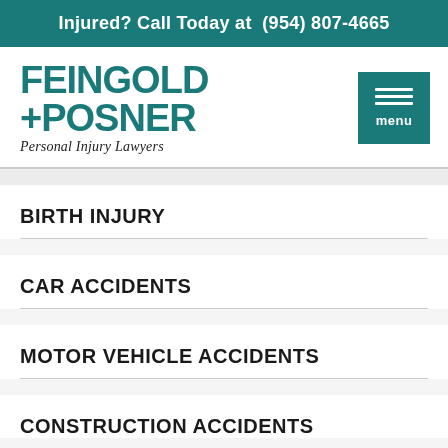Injured? Call Today at (954) 807-4665
[Figure (logo): Feingold + Posner Personal Injury Lawyers logo with teal menu button]
BIRTH INJURY
CAR ACCIDENTS
MOTOR VEHICLE ACCIDENTS
CONSTRUCTION ACCIDENTS